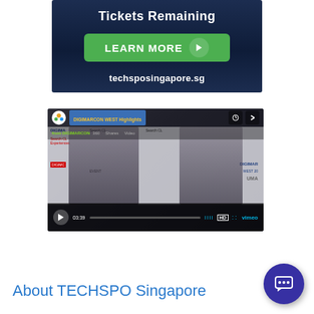[Figure (screenshot): Advertisement banner with dark navy background showing 'Tickets Remaining', a green LEARN MORE button with arrow icon, and 'techsposingapore.sg' URL text in white.]
[Figure (screenshot): Vimeo video player showing DIGIMARCON WEST Highlights video. Two men standing in front of a branded event backdrop. Video controls visible at the bottom showing play button, timestamp 03:39, progress bar, HD badge, and Vimeo branding.]
About TECHSPO Singapore